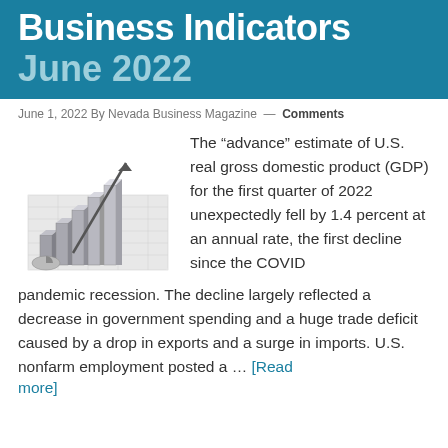Business Indicators June 2022
June 1, 2022 By Nevada Business Magazine — Comments
[Figure (illustration): 3D illustration of bar charts rising with an upward arrow on a spreadsheet background, in grayscale/silver tones.]
The “advance” estimate of U.S. real gross domestic product (GDP) for the first quarter of 2022 unexpectedly fell by 1.4 percent at an annual rate, the first decline since the COVID pandemic recession. The decline largely reflected a decrease in government spending and a huge trade deficit caused by a drop in exports and a surge in imports. U.S. nonfarm employment posted a … [Read more]